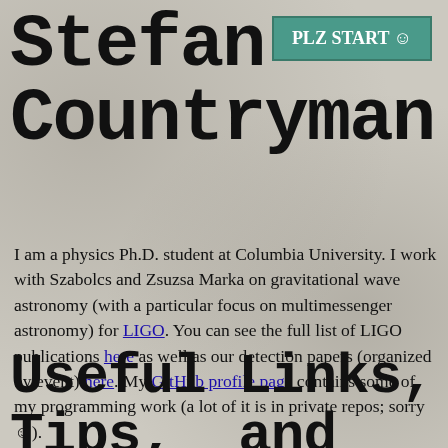Stefan Countryman
[Figure (other): Button with teal/green background reading 'PLZ START ☺' in white bold text]
I am a physics Ph.D. student at Columbia University. I work with Szabolcs and Zsuzsa Marka on gravitational wave astronomy (with a particular focus on multimessenger astronomy) for LIGO. You can see the full list of LIGO publications here as well as our detection papers (organized by event) here. My GitHub profile page contains some of my programming work (a lot of it is in private repos; sorry ☺).
I enjoy programming in python, bash (Bourne Again SHell) and julia.
Useful Links, Tips, and Tricks